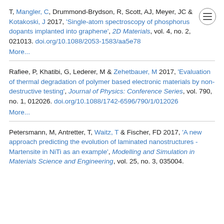T, Mangler, C, Drummond-Brydson, R, Scott, AJ, Meyer, JC & Kotakoski, J 2017, 'Single-atom spectroscopy of phosphorus dopants implanted into graphene', 2D Materials, vol. 4, no. 2, 021013. doi.org/10.1088/2053-1583/aa5e78
More...
Rafiee, P, Khatibi, G, Lederer, M & Zehetbauer, M 2017, 'Evaluation of thermal degradation of polymer based electronic materials by non-destructive testing', Journal of Physics: Conference Series, vol. 790, no. 1, 012026. doi.org/10.1088/1742-6596/790/1/012026
More...
Petersmann, M, Antretter, T, Waitz, T & Fischer, FD 2017, 'A new approach predicting the evolution of laminated nanostructures - Martensite in NiTi as an example', Modelling and Simulation in Materials Science and Engineering, vol. 25, no. 3, 035004.